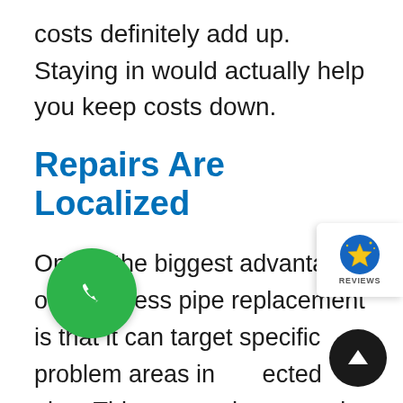costs definitely add up. Staying in would actually help you keep costs down.
Repairs Are Localized
One of the biggest advantages of trenchless pipe replacement is that it can target specific problem areas in the affected pipe. This means that repair efforts can be contained in a localized area, eliminating the need to relocate
[Figure (logo): Reviews widget with star icon in top right]
[Figure (illustration): Green circular phone call button]
[Figure (illustration): Black circular up-arrow scroll button]